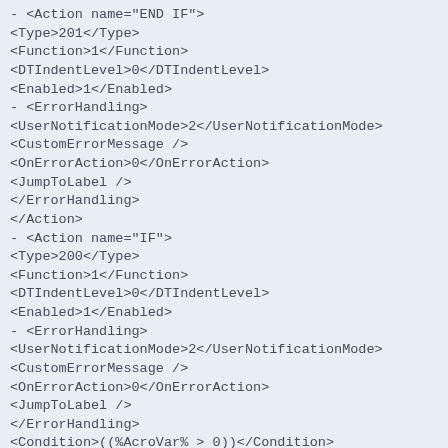- <Action name="END IF">
<Type>201</Type>
<Function>1</Function>
<DTIndentLevel>0</DTIndentLevel>
<Enabled>1</Enabled>
- <ErrorHandling>
<UserNotificationMode>2</UserNotificationMode>
<CustomErrorMessage />
<OnErrorAction>0</OnErrorAction>
<JumpToLabel />
</ErrorHandling>
</Action>
- <Action name="IF">
<Type>200</Type>
<Function>1</Function>
<DTIndentLevel>0</DTIndentLevel>
<Enabled>1</Enabled>
- <ErrorHandling>
<UserNotificationMode>2</UserNotificationMode>
<CustomErrorMessage />
<OnErrorAction>0</OnErrorAction>
<JumpToLabel />
</ErrorHandling>
<Condition>((%AcroVar% > 0))</Condition>
</Action>
- <Action name="Message Box">
<Type>5</Type>
<Function>0</Function>
<DTIndentLevel>1</DTIndentLevel>
<Enabled>1</Enabled>